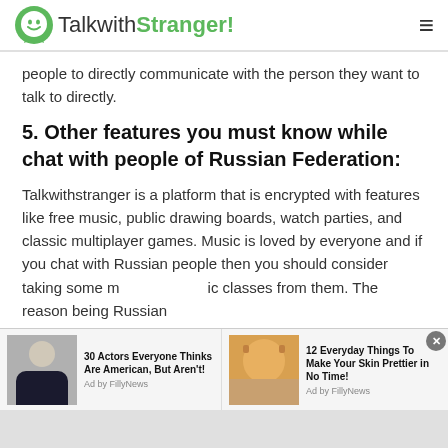TalkwithStranger!
people to directly communicate with the person they want to talk to directly.
5. Other features you must know while chat with people of Russian Federation:
Talkwithstranger is a platform that is encrypted with features like free music, public drawing boards, watch parties, and classic multiplayer games. Music is loved by everyone and if you chat with Russian people then you should consider taking some music classes from them. The reason being Russian
[Figure (screenshot): Ad banner with two advertisement items: '30 Actors Everyone Thinks Are American, But Aren't!' by FillyNews, and '12 Everyday Things To Make Your Skin Prettier in No Time!' by FillyNews]